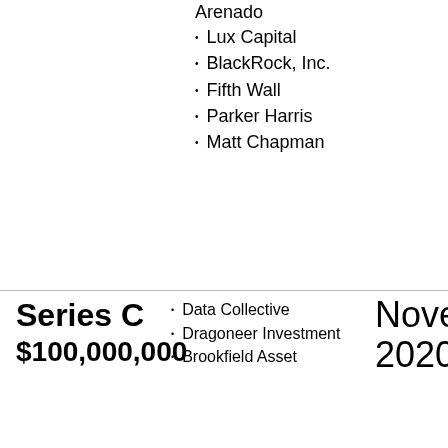Arenado
Lux Capital
BlackRock, Inc.
Fifth Wall
Parker Harris
Matt Chapman
Series C
$100,000,000
Data Collective
Dragoneer Investment
Brookfield Asset
November 2020